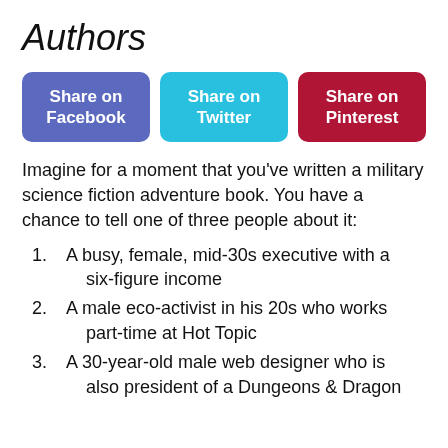Authors
[Figure (infographic): Three social share buttons: Share on Facebook (blue-purple), Share on Twitter (cyan), Share on Pinterest (dark red)]
Imagine for a moment that you've written a military science fiction adventure book. You have a chance to tell one of three people about it:
A busy, female, mid-30s executive with a six-figure income
A male eco-activist in his 20s who works part-time at Hot Topic
A 30-year-old male web designer who is also president of a Dungeons & Dragon